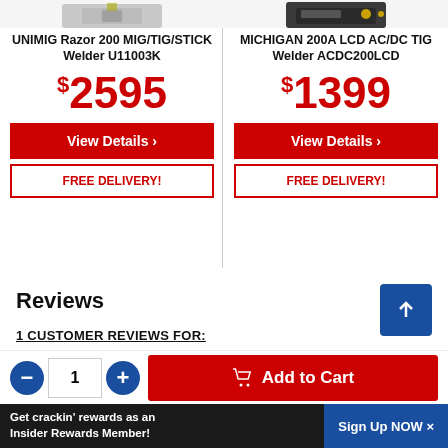[Figure (photo): Partial top view of UNIMIG Razor 200 MIG/TIG/STICK Welder product image (cropped, gray/silver device)]
[Figure (photo): Partial top view of MICHIGAN 200A LCD AC/DC TIG Welder product image (cropped, dark device)]
UNIMIG Razor 200 MIG/TIG/STICK Welder U11003K
$2595
View Details >
FREE DELIVERY!
MICHIGAN 200A LCD AC/DC TIG Welder ACDC200LCD
$1399
View Details >
FREE DELIVERY!
Reviews
1 CUSTOMER REVIEWS FOR:
Get crackin' rewards as an Insider Rewards Member!
Sign Up NOW ×